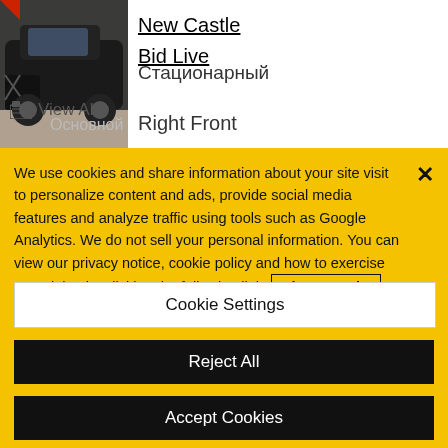[Figure (photo): Damaged black truck/SUV vehicle photo used in auction listing]
New Castle
Bid Live
View All
Стационарный
Основной
Right Front
We use cookies and share information about your site visit to personalize content and ads, provide social media features and analyze traffic using tools such as Google Analytics. We do not sell your personal information. You can view our privacy notice, cookie policy and how to exercise your rights by clicking the following link. Privacy Notice
Cookie Settings
Reject All
Accept Cookies